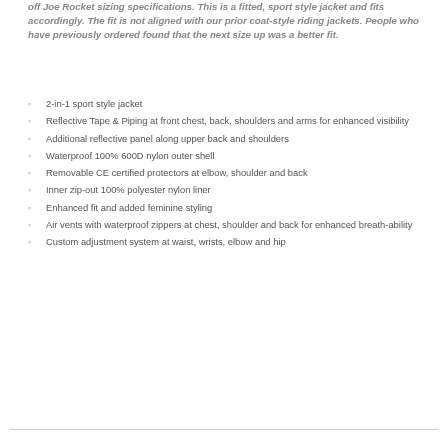off Joe Rocket sizing specifications. This is a fitted, sport style jacket and fits accordingly. The fit is not aligned with our prior coat-style riding jackets. People who have previously ordered found that the next size up was a better fit.
2-in-1 sport style jacket
Reflective Tape & Piping at front chest, back, shoulders and arms for enhanced visibility
Additional reflective panel along upper back and shoulders
Waterproof 100% 600D nylon outer  shell
Removable CE certified protectors at elbow, shoulder and back
Inner zip-out 100% polyester nylon liner
Enhanced fit and added feminine styling
Air vents with waterproof zippers at chest, shoulder and back for enhanced breath-ability
Custom adjustment system at waist, wrists, elbow and hip